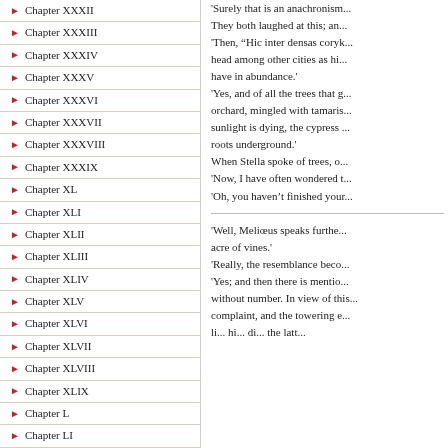Chapter XXXII
Chapter XXXIII
Chapter XXXIV
Chapter XXXV
Chapter XXXVI
Chapter XXXVII
Chapter XXXVIII
Chapter XXXIX
Chapter XL
Chapter XLI
Chapter XLII
Chapter XLIII
Chapter XLIV
Chapter XLV
Chapter XLVI
Chapter XLVII
Chapter XLVIII
Chapter XLIX
Chapter L
Chapter LI
Chapter LII
Chapter LIII
Chapter LIV
Chapter LV
Chapter LVI
'Surely that is an anachronism...
They both laughed at this; an...
'Then, “Hic inter densas coryk... head among other cities as hi... have in abundance.'
'Yes, and of all the trees that g... orchard, mingled with tamaris... sunlight is dying, the cypress ... roots underground.'
When Stella spoke of trees, o...
'Now, I have often wondered t...
'Oh, you haven’t finished your...
'Well, Meliœus speaks furthe... acre of vines.'
'Really, the resemblance beco...
'Yes; and then there is mentio... without number. In view of this... complaint, and the towering e... li... hi... di... the latt...